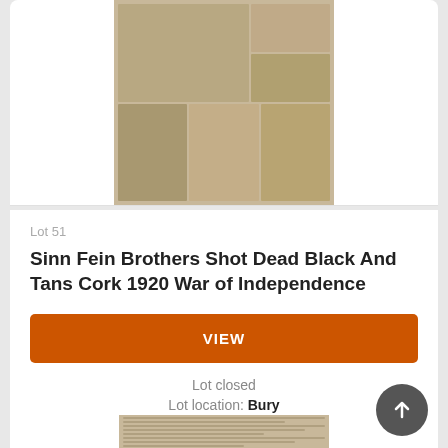[Figure (photo): Newspaper photo clipping showing multiple historical photographs of people, sepia-toned, related to Sinn Fein Brothers shooting in Cork 1920]
Lot 51
Sinn Fein Brothers Shot Dead Black And Tans Cork 1920 War of Independence
VIEW
Lot closed
Lot location: Bury
[Figure (photo): Newspaper clipping with text columns, sepia-toned, partially visible at bottom of page]